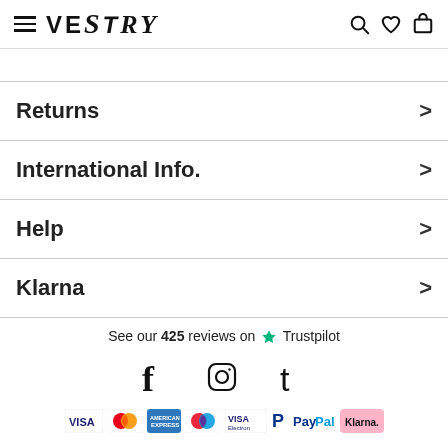VESTRY
Returns >
International Info. >
Help >
Klarna >
See our 425 reviews on Trustpilot
[Figure (illustration): Social media icons: Facebook, Instagram, Twitter]
[Figure (illustration): Payment logos: VISA, Mastercard, American Express, Maestro, VISA Electron, PayPal, Klarna]